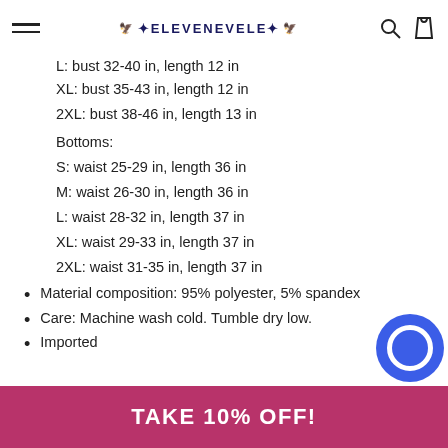ELEVENEVELE (hamburger menu, search, bag icons)
L: bust 32-40 in, length 12 in
XL: bust 35-43 in, length 12 in
2XL: bust 38-46 in, length 13 in
Bottoms:
S: waist 25-29 in, length 36 in
M: waist 26-30 in, length 36 in
L: waist 28-32 in, length 37 in
XL: waist 29-33 in, length 37 in
2XL: waist 31-35 in, length 37 in
Material composition: 95% polyester, 5% spandex
Care: Machine wash cold. Tumble dry low.
Imported
TAKE 10% OFF!